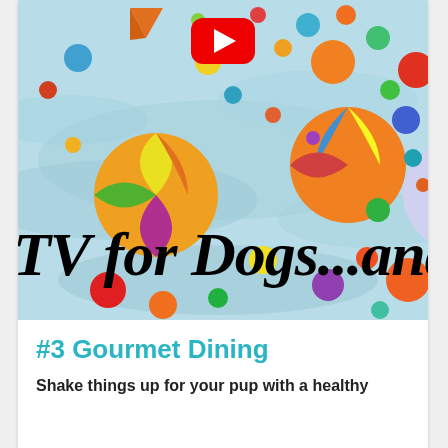[Figure (screenshot): A YouTube video thumbnail showing colorful beach balls floating in a pool of water, with white text overlay reading 'TV for Dogs...and so' overlaid at bottom, and a red YouTube play button at the top center.]
#3 Gourmet Dining
Shake things up for your pup with a healthy